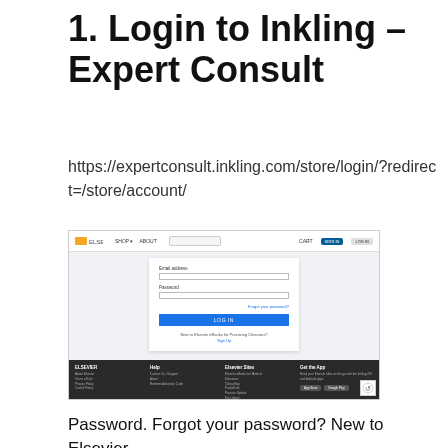1. Login to Inkling – Expert Consult
https://expertconsult.inkling.com/store/login/?redirect=/store/account/
[Figure (screenshot): Screenshot of Elsevier Expert Consult Inkling login page showing email address field, password field, forgot your password link, LOG IN button, and option for new Elsevier eBooks for Practicing Clinicians users to sign up, with dark footer containing ELSEVIER branding, Help, Elsevier Sites, and Get the App columns.]
Password. Forgot your password? New to Elsevier